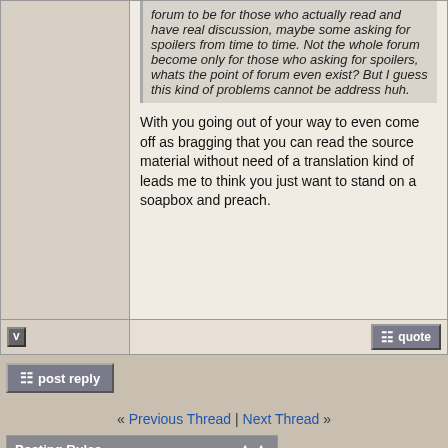forum to be for those who actually read and have real discussion, maybe some asking for spoilers from time to time. Not the whole forum become only for those who asking for spoilers, whats the point of forum even exist? But I guess this kind of problems cannot be address huh.
With you going out of your way to even come off as bragging that you can read the source material without need of a translation kind of leads me to think you just want to stand on a soapbox and preach.
« Previous Thread | Next Thread »
Posting Rules
You may not post new threads
You may not post replies
You may not post attachments